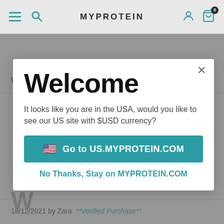MYPROTEIN
Was this helpful?
[Figure (screenshot): Modal dialog on MYPROTEIN website with Welcome message and US site redirect options]
18/12/2021 by Zara  **Verified Purchase**
Was this helpful?